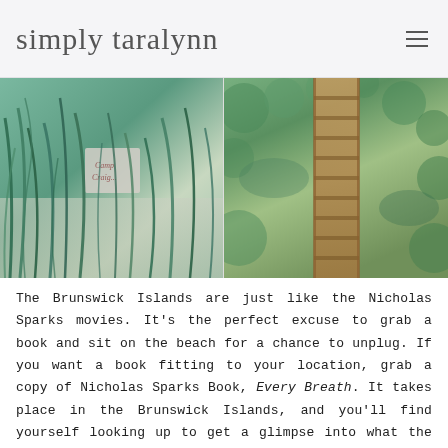simply taralynn
[Figure (photo): Two side-by-side photos: left shows green tropical grass/reeds with a sign partially visible; right shows a wooden boardwalk staircase surrounded by green foliage, viewed from above.]
The Brunswick Islands are just like the Nicholas Sparks movies. It's the perfect excuse to grab a book and sit on the beach for a chance to unplug. If you want a book fitting to your location, grab a copy of Nicholas Sparks Book, Every Breath. It takes place in the Brunswick Islands, and you'll find yourself looking up to get a glimpse into what the characters were seeing at that moment.